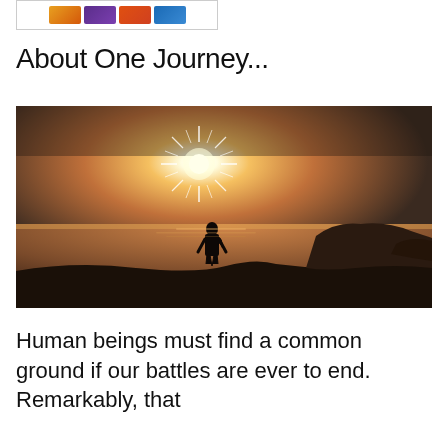[Figure (screenshot): Top banner with colored blocks: orange, purple, orange-red, blue]
About One Journey...
[Figure (photo): A silhouette of a person standing on rocky terrain facing a brilliant starburst sun over a calm sea, with silhouetted islands in the background, warm orange and brown sunset tones filling the sky]
Human beings must find a common ground if our battles are ever to end. Remarkably, that